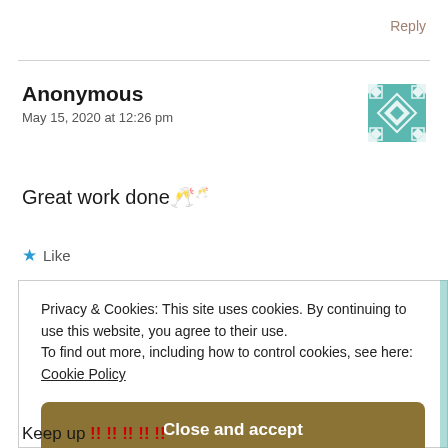Reply
Anonymous
May 15, 2020 at 12:26 pm
Great work done 🥂
★ Like
Privacy & Cookies: This site uses cookies. By continuing to use this website, you agree to their use.
To find out more, including how to control cookies, see here:
Cookie Policy
Close and accept
Keep up !! !! !! !! !!